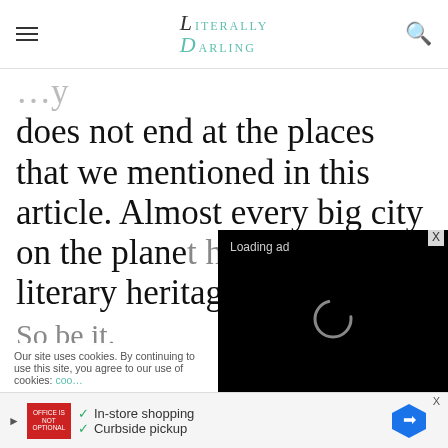Literally Darling
does not end at the places that we mentioned in this article. Almost every big city on the plane… literary heritage.
[Figure (screenshot): Video ad overlay showing 'Loading ad' text with spinner and playback controls (pause, expand, mute) on black background]
Our site uses cookies. By continuing to use this site, you agree to our use of cookies: cookie policy
[Figure (screenshot): I ACCEPT USE OF COOKIES button]
[Figure (screenshot): Ad banner: In-store shopping, Curbside pickup with Google Maps icon]